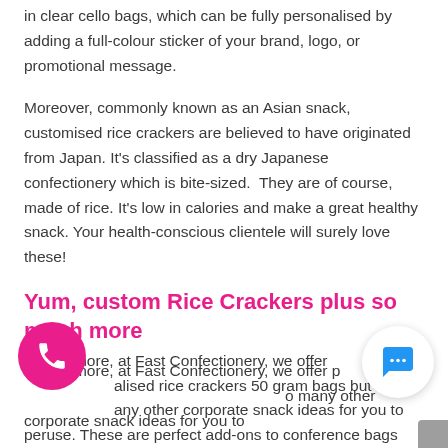in clear cello bags, which can be fully personalised by adding a full-colour sticker of your brand, logo, or promotional message.
Moreover, commonly known as an Asian snack, customised rice crackers are believed to have originated from Japan. It's classified as a dry Japanese confectionery which is bite-sized. They are of course, made of rice. It's low in calories and make a great healthy snack. Your health-conscious clientele will surely love these!
Yum, custom Rice Crackers plus so much more
Furthermore, at Fast Confectionery, we offer personalised rice crackers 50 gram bags but we also many other corporate snack ideas for you to peruse. These are perfect add-ons to conference bags